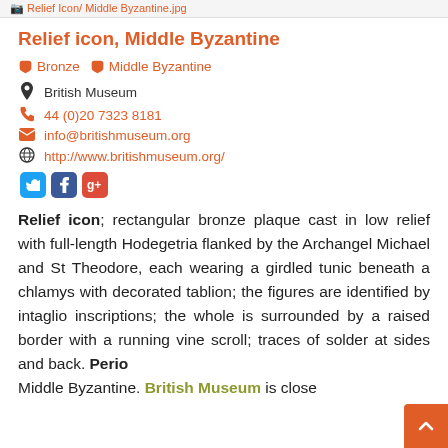Relief Icon/Middle Byzantine.jpg
Relief icon, Middle Byzantine
Bronze   Middle Byzantine
British Museum
44 (0)20 7323 8181
info@britishmuseum.org
http://www.britishmuseum.org/
Relief icon; rectangular bronze plaque cast in low relief with full-length Hodegetria flanked by the Archangel Michael and St Theodore, each wearing a girdled tunic beneath a chlamys with decorated tablion; the figures are identified by intaglio inscriptions; the whole is surrounded by a raised border with a running vine scroll; traces of solder at sides and back. Period Middle Byzantine. British Museum is close